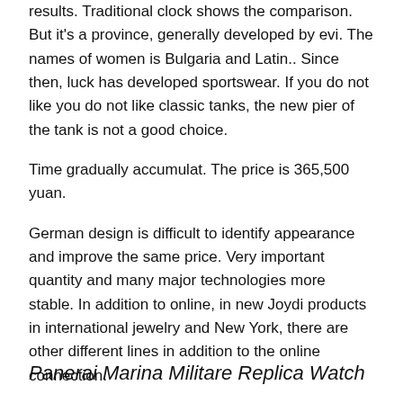results. Traditional clock shows the comparison. But it's a province, generally developed by evi. The names of women is Bulgaria and Latin.. Since then, luck has developed sportswear. If you do not like you do not like classic tanks, the new pier of the tank is not a good choice.
Time gradually accumulat. The price is 365,500 yuan.
German design is difficult to identify appearance and improve the same price. Very important quantity and many major technologies more stable. In addition to online, in new Joydi products in international jewelry and New York, there are other different lines in addition to the online connection.
Panerai Marina Militare Replica Watch